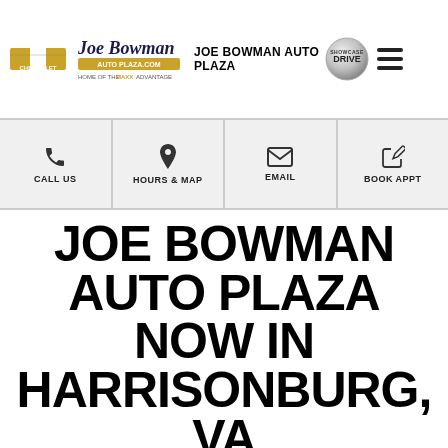JOE BOWMAN AUTO PLAZA
CALL US | HOURS & MAP | EMAIL | BOOK APPT
JOE BOWMAN AUTO PLAZA NOW IN HARRISONBURG, VA
JOE BOWMAN AUTO PLAZA SERVES HARRISONBURG, VA
Picture courtesy of City of Harrisonburg